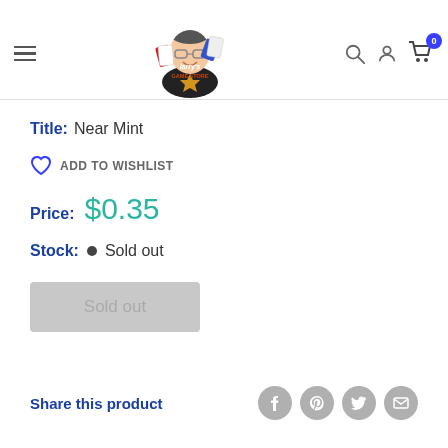Larry's Game Store navigation header with hamburger menu, logo, search, account, and cart icons
Title: Near Mint
ADD TO WISHLIST
Price: $0.35
Stock: • Sold out
Sold out
Share this product